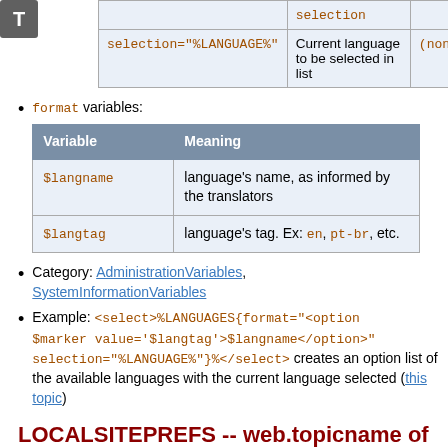[Figure (other): T icon top-left corner]
|  | selection |  |
| --- | --- | --- |
| selection="%LANGUAGE%" | Current language to be selected in list | (none) |
format variables:
| Variable | Meaning |
| --- | --- |
| $langname | language's name, as informed by the translators |
| $langtag | language's tag. Ex: en, pt-br, etc. |
Category: AdministrationVariables, SystemInformationVariables
Example: <select>%LANGUAGES{format="<option $marker value='$langtag'>$langname</option>" selection="%LANGUAGE%"}%</select> creates an option list of the available languages with the current language selected (this topic)
LOCALSITEPREFS -- web.topicname of site preferences topic